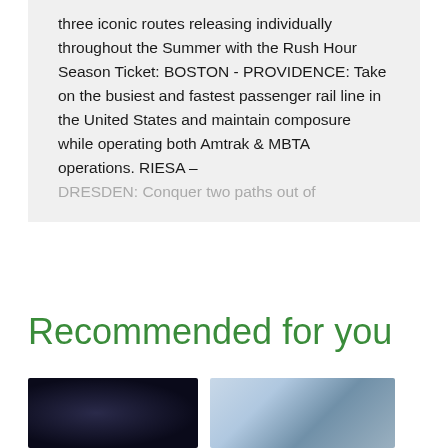three iconic routes releasing individually throughout the Summer with the Rush Hour Season Ticket: BOSTON - PROVIDENCE: Take on the busiest and fastest passenger rail line in the United States and maintain composure while operating both Amtrak & MBTA operations. RIESA – DRESDEN: Conquer two paths out of
Recommended for you
[Figure (photo): Dark photo, possibly a train cab or cockpit interior at night]
[Figure (photo): Light blue photo, possibly railway infrastructure or tracks]